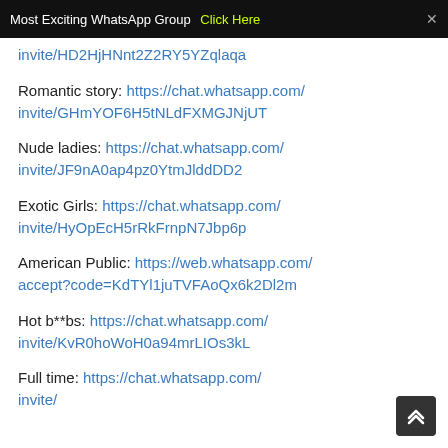Most Exciting WhatsApp Group  Click Here  ×
invite/HD2HjHNnt2Z2RY5YZqlaqa
Romantic story: https://chat.whatsapp.com/invite/GHmYOF6H5tNLdFXMGJNjUT
Nude ladies: https://chat.whatsapp.com/invite/JF9nA0ap4pz0YtmJlddDD2
Exotic Girls: https://chat.whatsapp.com/invite/HyOpEcH5rRkFrnpN7Jbp6p
American Public: https://web.whatsapp.com/accept?code=KdTYl1juTVFAoQx6k2Dl2m
Hot b**bs: https://chat.whatsapp.com/invite/KvR0hoWoH0a94mrLIOs3kL
Full time: https://chat.whatsapp.com/invite/...